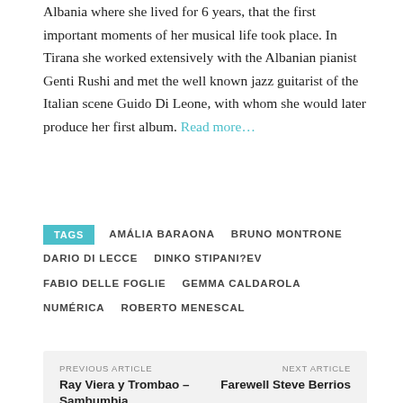Albania where she lived for 6 years, that the first important moments of her musical life took place. In Tirana she worked extensively with the Albanian pianist Genti Rushi and met the well known jazz guitarist of the Italian scene Guido Di Leone, with whom she would later produce her first album. Read more…
TAGS   AMÁLIA BARAONA   BRUNO MONTRONE   DARIO DI LECCE   DINKO STIPANI?EV   FABIO DELLE FOGLIE   GEMMA CALDAROLA   NUMÉRICA   ROBERTO MENESCAL
PREVIOUS ARTICLE: Ray Viera y Trombao – Sambumbia Radioactiva   NEXT ARTICLE: Farewell Steve Berrios